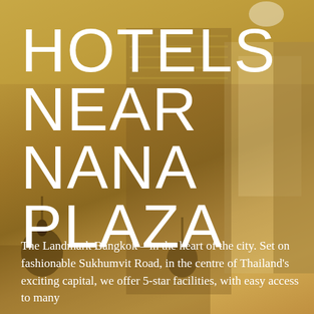[Figure (photo): Hotel room interior photo with warm golden/amber tone overlay, showing a modern luxury hotel room with pendant lamps, curtains, and city view through window]
HOTELS NEAR NANA PLAZA
The Landmark Bangkok – in the heart of the city. Set on fashionable Sukhumvit Road, in the centre of Thailand's exciting capital, we offer 5-star facilities, with easy access to many